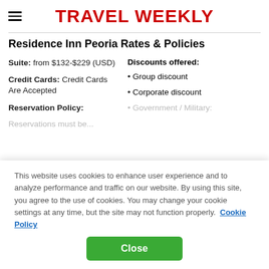TRAVEL WEEKLY
Residence Inn Peoria Rates & Policies
Suite: from $132-$229 (USD)
Discounts offered:
Credit Cards: Credit Cards Are Accepted
Group discount
Corporate discount
Reservation Policy:
Government / Military:
This website uses cookies to enhance user experience and to analyze performance and traffic on our website. By using this site, you agree to the use of cookies. You may change your cookie settings at any time, but the site may not function properly. Cookie Policy
Close